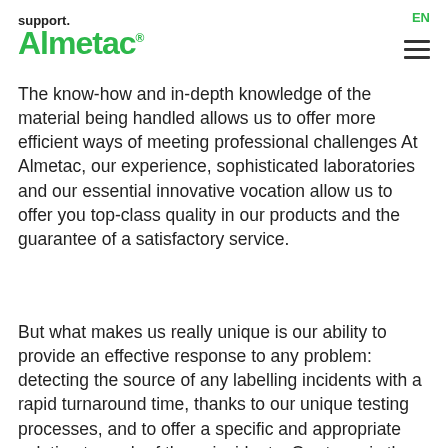support. Almetac® EN
The know-how and in-depth knowledge of the material being handled allows us to offer more efficient ways of meeting professional challenges At Almetac, our experience, sophisticated laboratories and our essential innovative vocation allow us to offer you top-class quality in our products and the guarantee of a satisfactory service.
But what makes us really unique is our ability to provide an effective response to any problem: detecting the source of any labelling incidents with a rapid turnaround time, thanks to our unique testing processes, and to offer a specific and appropriate solution to each of these incidents. Our team is the most thorough, diligent and